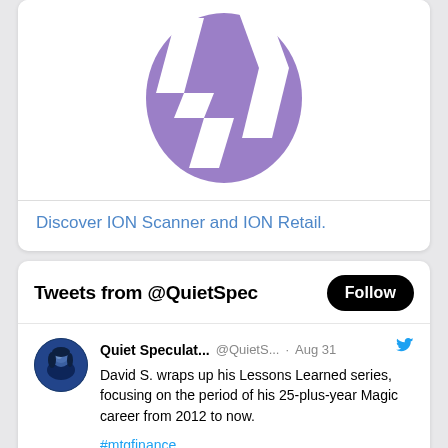[Figure (logo): ION purple shattered/fragmented oval logo on white background]
Discover ION Scanner and ION Retail.
Tweets from @QuietSpec
Quiet Speculat... @QuietS... · Aug 31
David S. wraps up his Lessons Learned series, focusing on the period of his 25-plus-year Magic career from 2012 to now.
#mtgfinance